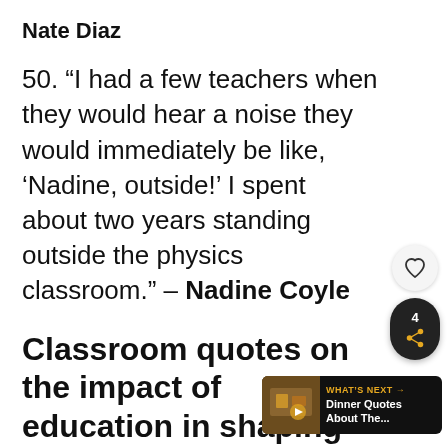Nate Diaz
50. “I had a few teachers when they would hear a noise they would immediately be like, ‘Nadine, outside!’ I spent about two years standing outside the physics classroom.” – Nadine Coyle
Classroom quotes on the impact of education in shaping the minds of
[Figure (other): Heart icon button (like/favorite) on light grey circular background]
[Figure (other): Share button on dark background showing count 4 and share icon]
[Figure (other): What's Next banner: Dinner Quotes About The... with thumbnail image]